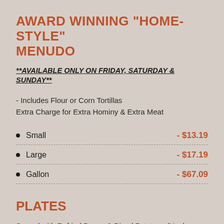AWARD WINNING "HOME-STYLE" MENUDO
**AVAILABLE ONLY ON FRIDAY, SATURDAY & SUNDAY**
- Includes Flour or Corn Tortillas Extra Charge for Extra Hominy & Extra Meat
Small  - $13.19
Large  - $17.19
Gallon  - $67.09
PLATES
Served with Refried Beans & Diced Potatoes (Hash browns) Choice of Toast (white or wheat) or